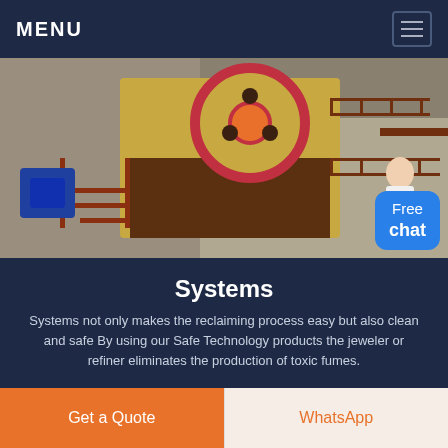MENU
[Figure (photo): Industrial jaw crusher machine on an outdoor construction/mining site with metal railings, stairs, and a large flywheel with circular holes. A small customer-service representative figure with a 'Free chat' button overlay appears in the bottom-right corner.]
Systems
Systems not only makes the reclaiming process easy but also clean and safe By using our Safe Technology products the jeweler or refiner eliminates the production of toxic fumes.
Get a Quote
WhatsApp